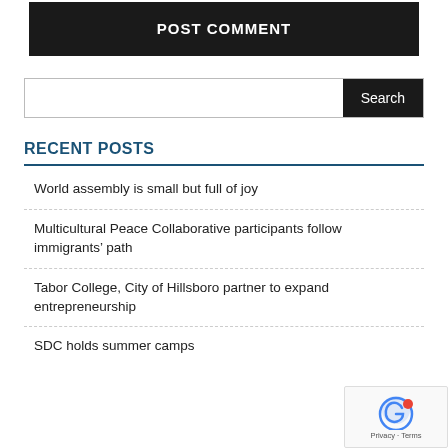POST COMMENT
Search
RECENT POSTS
World assembly is small but full of joy
Multicultural Peace Collaborative participants follow immigrants’ path
Tabor College, City of Hillsboro partner to expand entrepreneurship
SDC holds summer camps